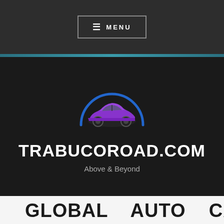≡ MENU
[Figure (logo): Car logo: a purple sports car silhouette under a blue arch/dome, on a dark background. Logo for TRABUCOROAD.COM]
TRABUCOROAD.COM
Above & Beyond
GLOBAL AUTO CAR LOGO